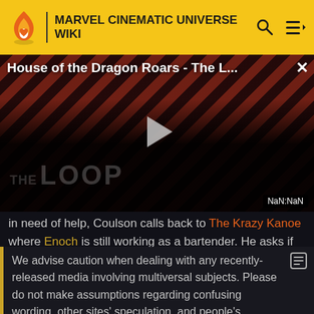MARVEL CINEMATIC UNIVERSE WIKI
[Figure (screenshot): Video player showing 'House of the Dragon Roars - The L...' with a play button, diagonal red/dark stripe background, two dark figures visible, 'THE LOOP' watermark text at bottom, and NaN:NaN time display. Close (X) button in top right.]
in need of help, Coulson calls back to The Krazy Kanoe where Enoch is still working as a bartender. He asks if
We advise caution when dealing with any recently-released media involving multiversal subjects. Please do not make assumptions regarding confusing wording, other sites' speculation, and people's headcanon around the internet.